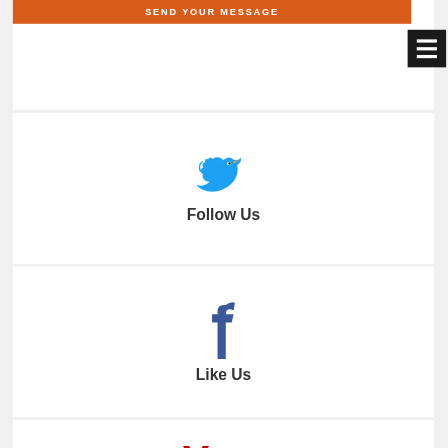SEND YOUR MESSAGE
[Figure (screenshot): Hamburger menu button icon (three horizontal white lines on black background)]
[Figure (logo): Twitter bird logo in blue]
Follow Us
[Figure (logo): Facebook 'f' logo in blue]
Like Us
[Figure (logo): YouTube 'You' text logo in red (partial)]